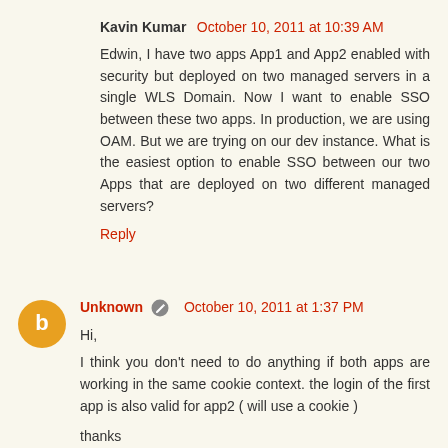Kavin Kumar  October 10, 2011 at 10:39 AM
Edwin, I have two apps App1 and App2 enabled with security but deployed on two managed servers in a single WLS Domain. Now I want to enable SSO between these two apps. In production, we are using OAM. But we are trying on our dev instance. What is the easiest option to enable SSO between our two Apps that are deployed on two different managed servers?
Reply
Unknown  October 10, 2011 at 1:37 PM
Hi,

I think you don't need to do anything if both apps are working in the same cookie context. the login of the first app is also valid for app2 ( will use a cookie )

thanks
Reply